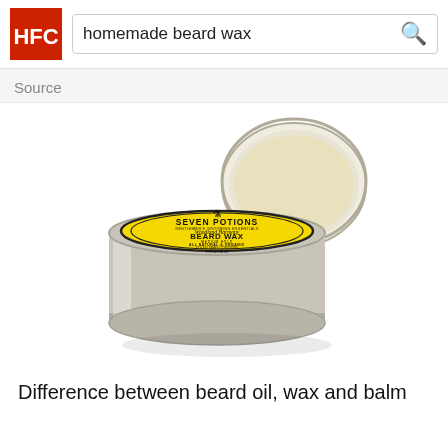homemade beard wax
Source
[Figure (photo): A round metal tin of Seven Potions Woodland Harmony Beard Wax with yellow label, MEDIUM HOLD, ALL NATURAL & ORGANIC, 1 FL OZ / 30 ML, shown open with the cream-colored wax visible inside the lid.]
Difference between beard oil, wax and balm